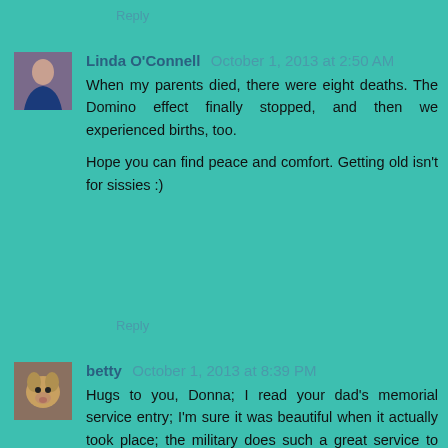Reply
Linda O'Connell  October 1, 2013 at 2:50 AM
When my parents died, there were eight deaths. The Domino effect finally stopped, and then we experienced births, too.

Hope you can find peace and comfort. Getting old isn't for sissies :)
Reply
betty  October 1, 2013 at 8:39 PM
Hugs to you, Donna; I read your dad's memorial service entry; I'm sure it was beautiful when it actually took place; the military does such a great service to honor those that served our country, like your dad did.

I'm glad your mom went to the nursing home; I'm sure it helped with closure both for her and the people who